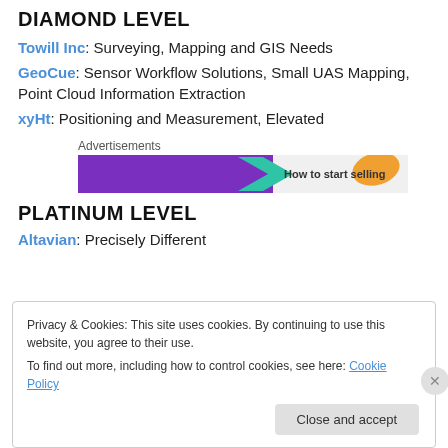DIAMOND LEVEL
Towill Inc: Surveying, Mapping and GIS Needs
GeoCue: Sensor Workflow Solutions, Small UAS Mapping, Point Cloud Information Extraction
xyHt: Positioning and Measurement, Elevated
[Figure (screenshot): Advertisement banner with purple background, teal arrow shape, and orange blob shape. Text reads 'How to start selling']
PLATINUM LEVEL
Altavian: Precisely Different
Privacy & Cookies: This site uses cookies. By continuing to use this website, you agree to their use. To find out more, including how to control cookies, see here: Cookie Policy